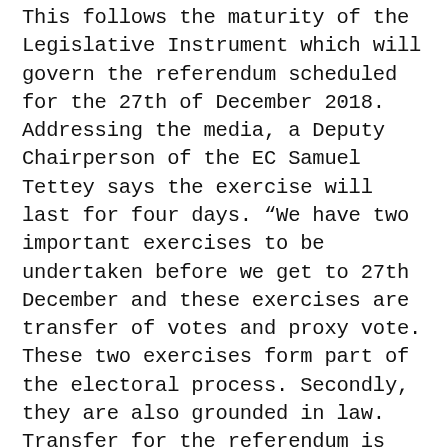This follows the maturity of the Legislative Instrument which will govern the referendum scheduled for the 27th of December 2018. Addressing the media, a Deputy Chairperson of the EC Samuel Tettey says the exercise will last for four days. "We have two important exercises to be undertaken before we get to 27th December and these exercises are transfer of votes and proxy vote. These two exercises form part of the electoral process. Secondly, they are also grounded in law. Transfer for the referendum is from the 2nd to the 6th of December. "From the 2nd to the 6th, all applicants who have relocated, that is moved from one area to the other and would want to take part in the referendum, they would have the opportunity to go to the district office to transfer his or her votes. It is the same as proxy probably because on the day of election you